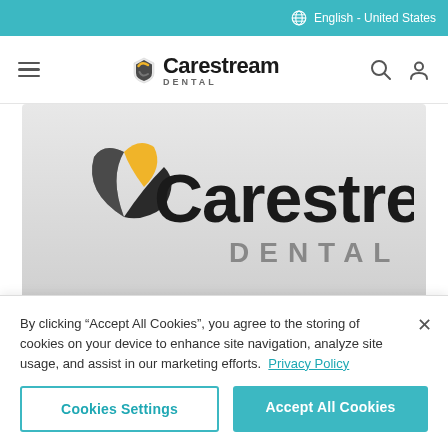English - United States
[Figure (logo): Carestream Dental navigation bar logo with hamburger menu, search icon, and user icon]
[Figure (logo): Large Carestream Dental logo on gradient grey background]
Clayton, Dubilier & Rice and CareCapital Advisors Limited (part of Hillhouse Capital Management), completed the previously
By clicking "Accept All Cookies", you agree to the storing of cookies on your device to enhance site navigation, analyze site usage, and assist in our marketing efforts.  Privacy Policy
Cookies Settings
Accept All Cookies